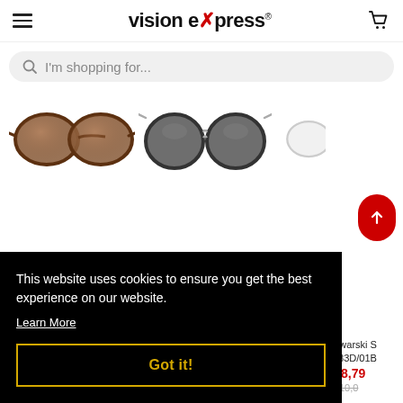vision express®
I'm shopping for...
[Figure (photo): Three pairs of sunglasses/eyewear displayed in a row: (1) brown tortoiseshell cat-eye sunglasses, (2) round black sunglasses with silver double bridge, (3) partially visible clear/white eyeglass frames]
This website uses cookies to ensure you get the best experience on our website.
Learn More
Swa ski S 183D/01B
₱8,79
₱10,0
Got it!